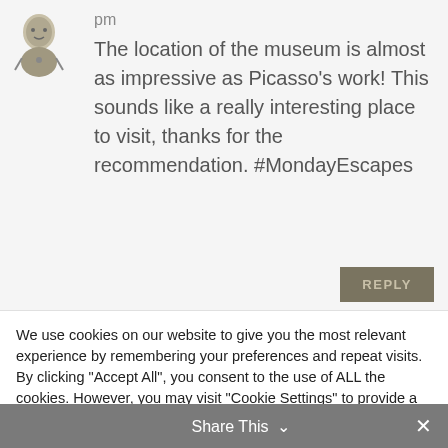[Figure (illustration): Small illustrated avatar/character image in the top-left of the comment section]
pm
The location of the museum is almost as impressive as Picasso's work! This sounds like a really interesting place to visit, thanks for the recommendation. #MondayEscapes
REPLY
We use cookies on our website to give you the most relevant experience by remembering your preferences and repeat visits. By clicking "Accept All", you consent to the use of ALL the cookies. However, you may visit "Cookie Settings" to provide a controlled consent.
Cookie Settings
Accept All
Share This ∨  ✕